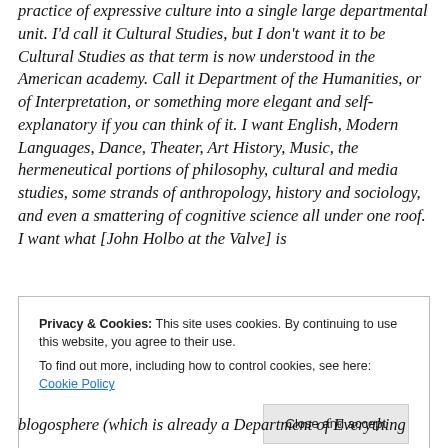practice of expressive culture into a single large departmental unit. I'd call it Cultural Studies, but I don't want it to be Cultural Studies as that term is now understood in the American academy. Call it Department of the Humanities, or of Interpretation, or something more elegant and self-explanatory if you can think of it. I want English, Modern Languages, Dance, Theater, Art History, Music, the hermeneutical portions of philosophy, cultural and media studies, some strands of anthropology, history and sociology, and even a smattering of cognitive science all under one roof. I want what [John Holbo at the Valve] is
Privacy & Cookies: This site uses cookies. By continuing to use this website, you agree to their use. To find out more, including how to control cookies, see here: Cookie Policy
blogosphere (which is already a Department of Everything